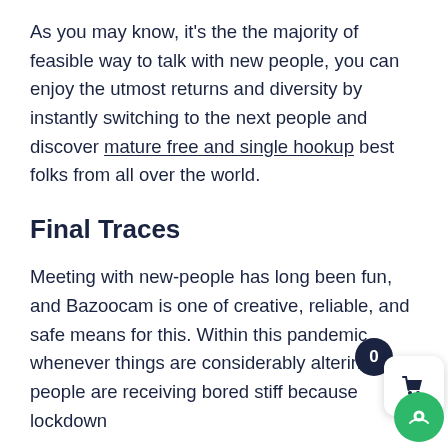As you may know, it's the the majority of feasible way to talk with new people, you can enjoy the utmost returns and diversity by instantly switching to the next people and discover mature free and single hookup best folks from all over the world.
Final Traces
Meeting with new-people has long been fun, and Bazoocam is one of creative, reliable, and safe means for this. Within this pandemic, whenever things are considerably altering and people are receiving bored stiff because lockdown